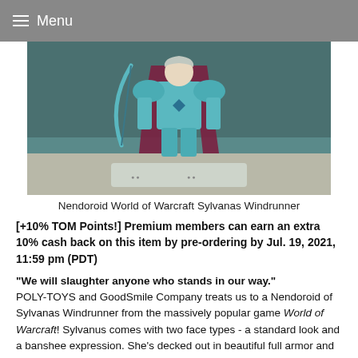Menu
[Figure (photo): Photo of a Nendoroid figure of Sylvanas Windrunner from World of Warcraft, showing teal/blue armor and a display base.]
Nendoroid World of Warcraft Sylvanas Windrunner
[+10% TOM Points!] Premium members can earn an extra 10% cash back on this item by pre-ordering by Jul. 19, 2021, 11:59 pm (PDT)
"We will slaughter anyone who stands in our way." POLY-TOYS and GoodSmile Company treats us to a Nendoroid of Sylvanas Windrunner from the massively popular game World of Warcraft! Sylvanus comes with two face types - a standard look and a banshee expression. She's decked out in beautiful full armor and comes with optional parts - her bow Rae'shalare, an arrow, and aura